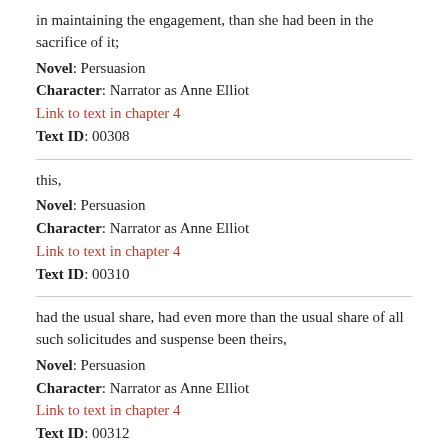in maintaining the engagement, than she had been in the sacrifice of it;
Novel: Persuasion
Character: Narrator as Anne Elliot
Link to text in chapter 4
Text ID: 00308
this,
Novel: Persuasion
Character: Narrator as Anne Elliot
Link to text in chapter 4
Text ID: 00310
had the usual share, had even more than the usual share of all such solicitudes and suspense been theirs,
Novel: Persuasion
Character: Narrator as Anne Elliot
Link to text in chapter 4
Text ID: 00312
it was folly,